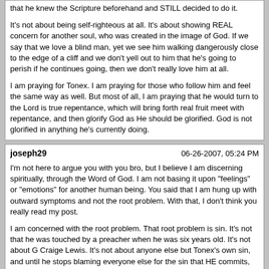that he knew the Scripture beforehand and STILL decided to do it.

It's not about being self-righteous at all. It's about showing REAL concern for another soul, who was created in the image of God. If we say that we love a blind man, yet we see him walking dangerously close to the edge of a cliff and we don't yell out to him that he's going to perish if he continues going, then we don't really love him at all.

I am praying for Tonex. I am praying for those who follow him and feel the same way as well. But most of all, I am praying that he would turn to the Lord is true repentance, which will bring forth real fruit meet with repentance, and then glorify God as He should be glorified. God is not glorified in anything he's currently doing.
joseph29	06-26-2007, 05:24 PM

I'm not here to argue you with you bro, but I believe I am discerning spiritually, through the Word of God. I am not basing it upon "feelings" or "emotions" for another human being. You said that I am hung up with outward symptoms and not the root problem. With that, I don't think you really read my post.

I am concerned with the root problem. That root problem is sin. It's not that he was touched by a preacher when he was six years old. It's not about G Craige Lewis. It's not about anyone else but Tonex's own sin, and until he stops blaming everyone else for the sin that HE commits, what can a person do? The outward symptoms are an expression of the inner man. Out of the abundance of the heart, the mouth speaks.

It's not simply about saying you're sorry for what you've said or done. It's about truly being sorry and then STOPPING your constant sin. He said that he knows the Scripture but doesn't want to hear it when folks bring it to him. He admits that he knew the Scripture beforehand and STILL decided to do it.

It's not about being self-righteous at all. It's about showing REAL concern for another soul, who was created in the image of God. If we say that we love a blind man, yet we see him walking dangerously close to the edge of a cliff and we don't yell out to him that he's going to perish if he continues going, then we